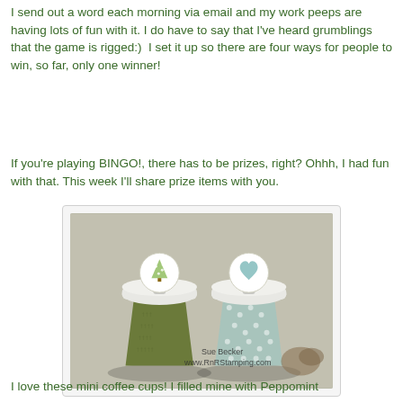I send out a word each morning via email and my work peeps are having lots of fun with it. I do have to say that I've heard grumblings that the game is rigged:)  I set it up so there are four ways for people to win, so far, only one winner!
If you're playing BINGO!, there has to be prizes, right? Ohhh, I had fun with that. This week I'll share prize items with you.
[Figure (photo): Two decorative mini coffee cups with white lids. The left cup has an olive green sleeve with small arrow pattern and a white circular lid topper with a green Christmas tree. The right cup has a light blue/teal polka dot sleeve with a white circular lid topper featuring a teal heart design. Watermark reads: Sue Becker www.RnRStamping.com]
I love these mini coffee cups! I filled mine with Peppomint